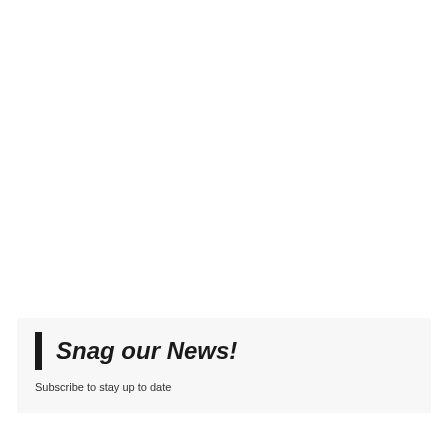Snag our News!
Subscribe to stay up to date